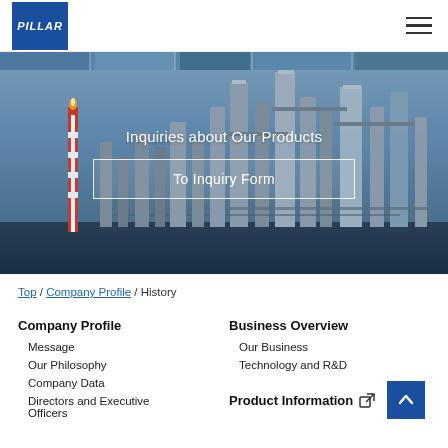PILLAR
[Figure (photo): Industrial chemical plant / refinery at dusk with towers, pipes, and a flaring smokestack against a blue-purple sky. Text overlay: 'Inquiries about Our Products' and a button 'To Inquiry Form'.]
Top / Company Profile / History
Company Profile
Message
Our Philosophy
Company Data
Directors and Executive Officers
Business Overview
Our Business
Technology and R&D
Product Information